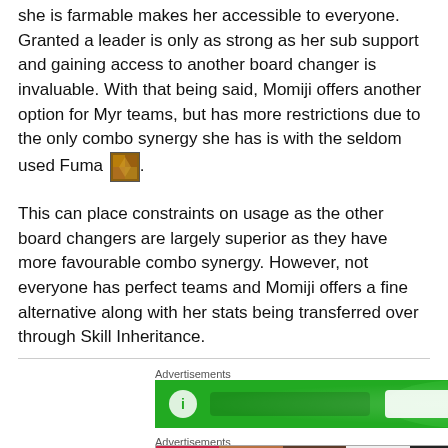she is farmable makes her accessible to everyone. Granted a leader is only as strong as her sub support and gaining access to another board changer is invaluable. With that being said, Momiji offers another option for Myr teams, but has more restrictions due to the only combo synergy she has is with the seldom used Fuma [icon].
This can place constraints on usage as the other board changers are largely superior as they have more favourable combo synergy. However, not everyone has perfect teams and Momiji offers a fine alternative along with her stats being transferred over through Skill Inheritance.
Advertisements
[Figure (other): Green advertisement banner]
Advertisements
[Figure (other): ULTA beauty advertisement showing makeup images with SHOP NOW button]